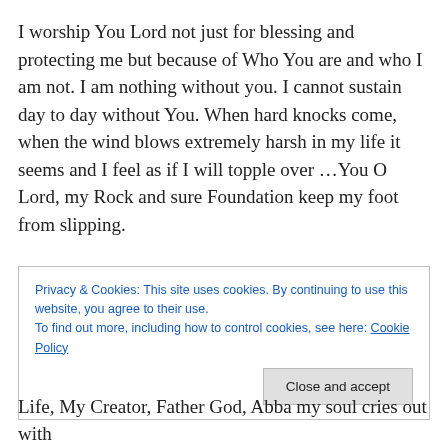I worship You Lord not just for blessing and protecting me but because of Who You are and who I am not. I am nothing without you. I cannot sustain day to day without You. When hard knocks come, when the wind blows extremely harsh in my life it seems and I feel as if I will topple over …You O Lord, my Rock and sure Foundation keep my foot from slipping.
I worship You! I worship You with all that I have within me…. I bless You Lord. Hallelujah!
Privacy & Cookies: This site uses cookies. By continuing to use this website, you agree to their use. To find out more, including how to control cookies, see here: Cookie Policy
Life, My Creator, Father God, Abba my soul cries out with